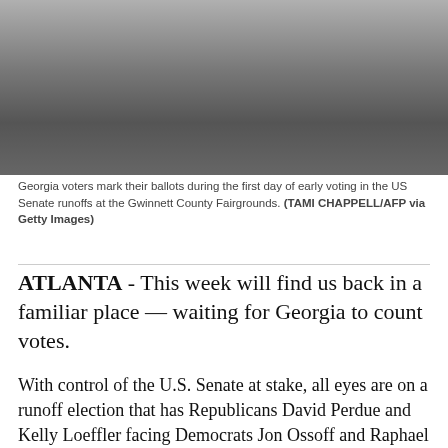[Figure (photo): Georgia voters marking their ballots during early voting, photographed at the Gwinnett County Fairgrounds. People in indoor setting with voting booths.]
Georgia voters mark their ballots during the first day of early voting in the US Senate runoffs at the Gwinnett County Fairgrounds. (TAMI CHAPPELL/AFP via Getty Images)
ATLANTA - This week will find us back in a familiar place — waiting for Georgia to count votes.
With control of the U.S. Senate at stake, all eyes are on a runoff election that has Republicans David Perdue and Kelly Loeffler facing Democrats Jon Ossoff and Raphael Warnock. Millions of dollars have poured in, Georgians have been bombarded by advertisements and messages urging them to vote, and both sides have sent their heavy hitters to help turn out voters